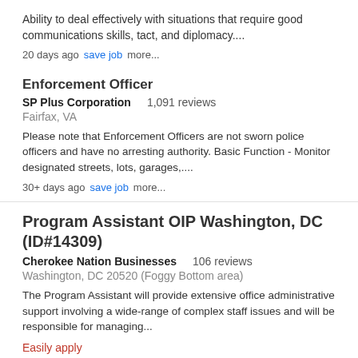Ability to deal effectively with situations that require good communications skills, tact, and diplomacy....
20 days ago  save job  more...
Enforcement Officer
SP Plus Corporation  1,091 reviews
Fairfax, VA
Please note that Enforcement Officers are not sworn police officers and have no arresting authority. Basic Function - Monitor designated streets, lots, garages,...
30+ days ago  save job  more...
Program Assistant OIP Washington, DC (ID#14309)
Cherokee Nation Businesses  106 reviews
Washington, DC 20520 (Foggy Bottom area)
The Program Assistant will provide extensive office administrative support involving a wide-range of complex staff issues and will be responsible for managing...
Easily apply